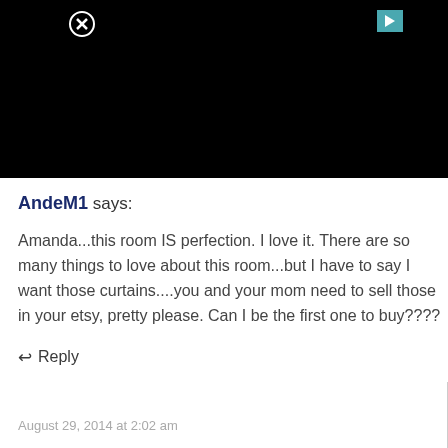[Figure (screenshot): Black video/ad banner with close (X) button top-left and teal play button top-right]
AndeM1 says:
Amanda...this room IS perfection. I love it. There are so many things to love about this room...but I have to say I want those curtains....you and your mom need to sell those in your etsy, pretty please. Can I be the first one to buy????
↩ Reply
August 29, 2014 at 2:02 am